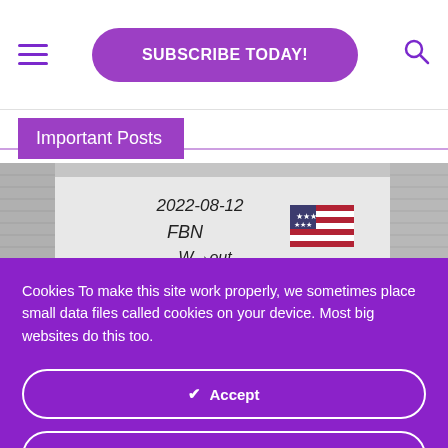SUBSCRIBE TODAY!
Important Posts
[Figure (photo): Photograph of a whiteboard with handwritten text '2022-08-12 FBN W→out' and an American flag sticker, partially cropped by grey roller shutters on the sides]
Cookies To make this site work properly, we sometimes place small data files called cookies on your device. Most big websites do this too.
✔ Accept
Change Settings ⚙